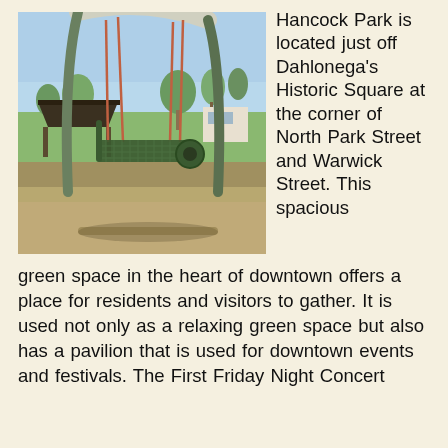[Figure (photo): Photograph of a park swing set in the foreground with a pavilion, trees, and open green space visible in the background. The swing is a green metal bench-style swing suspended by chains from a large curved metal arch structure.]
Hancock Park is located just off Dahlonega's Historic Square at the corner of North Park Street and Warwick Street. This spacious green space in the heart of downtown offers a place for residents and visitors to gather. It is used not only as a relaxing green space but also has a pavilion that is used for downtown events and festivals. The First Friday Night Concert